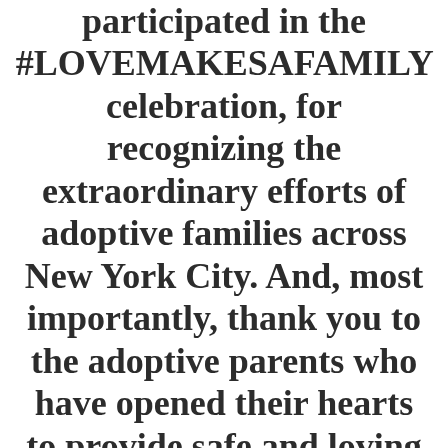participated in the #LOVEMAKESAFAMILY celebration, for recognizing the extraordinary efforts of adoptive families across New York City. And, most importantly, thank you to the adoptive parents who have opened their hearts to provide safe and loving homes to the City's most vulnerable